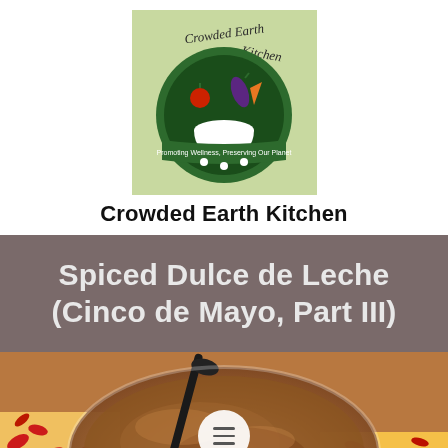[Figure (logo): Crowded Earth Kitchen circular logo with green background, white bowl, tomato, eggplant, and carrot, with text 'Promoting Wellness, Preserving Our Planet']
Crowded Earth Kitchen
Spiced Dulce de Leche (Cinco de Mayo, Part III)
[Figure (photo): Close-up photo of Spiced Dulce de Leche in a glass bowl with a dark spoon, viewed from above, with colorful floral fabric in background. A circular menu button with three horizontal lines overlays the center.]